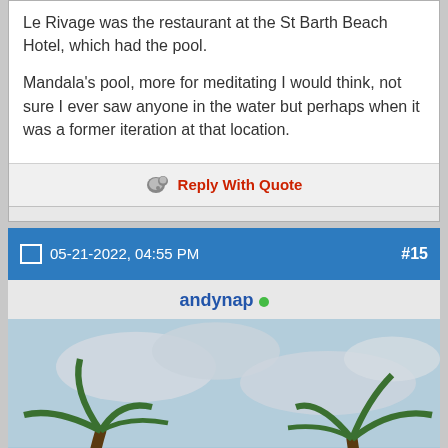Le Rivage was the restaurant at the St Barth Beach Hotel, which had the pool.
Mandala's pool, more for meditating I would think, not sure I ever saw anyone in the water but perhaps when it was a former iteration at that location.
Reply With Quote
05-21-2022, 04:55 PM  #15
andynap
[Figure (photo): Beach scene with palm trees, ocean, and outdoor seating area under cloudy sky]